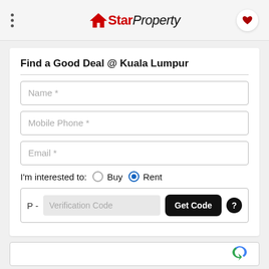StarProperty
Find a Good Deal @ Kuala Lumpur
Name *
Mobile Phone *
Email *
I'm interested to: Buy Rent
P - Verification Code  Get Code ?
[Figure (other): reCAPTCHA verification widget partially visible at bottom]